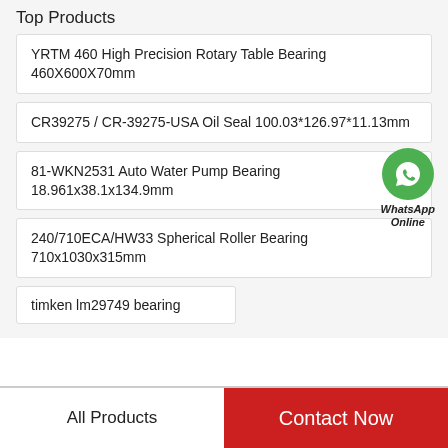Top Products
YRTM 460 High Precision Rotary Table Bearing 460X600X70mm
CR39275 / CR-39275-USA Oil Seal 100.03*126.97*11.13mm
81-WKN2531 Auto Water Pump Bearing 18.961x38.1x134.9mm
[Figure (logo): WhatsApp contact button — green circle with phone handset icon, labeled WhatsApp Online]
240/710ECA/HW33 Spherical Roller Bearing 710x1030x315mm
timken lm29749 bearing
All Products
Contact Now